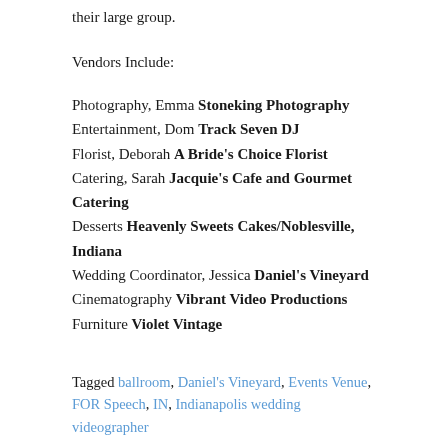their large group.
Vendors Include:
Photography, Emma Stoneking Photography
Entertainment, Dom Track Seven DJ
Florist, Deborah A Bride's Choice Florist
Catering, Sarah Jacquie's Cafe and Gourmet Catering
Desserts Heavenly Sweets Cakes/Noblesville, Indiana
Wedding Coordinator, Jessica Daniel's Vineyard
Cinematography Vibrant Video Productions
Furniture Violet Vintage
Tagged ballroom, Daniel's Vineyard, Events Venue, FOR Speech, IN, Indianapolis wedding videographer